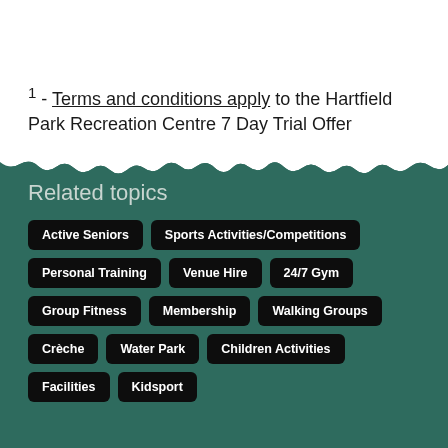1 - Terms and conditions apply to the Hartfield Park Recreation Centre 7 Day Trial Offer
Related topics
Active Seniors
Sports Activities/Competitions
Personal Training
Venue Hire
24/7 Gym
Group Fitness
Membership
Walking Groups
Crèche
Water Park
Children Activities
Facilities
Kidsport